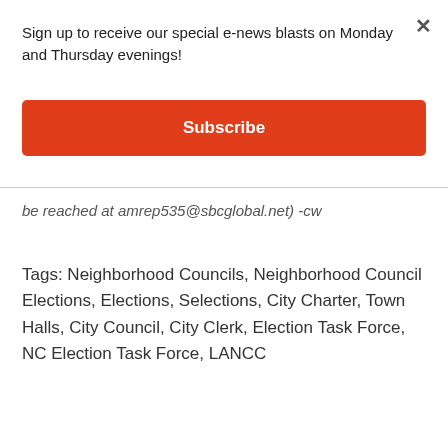Sign up to receive our special e-news blasts on Monday and Thursday evenings!
[Figure (other): Orange Subscribe button]
be reached at amrep535@sbcglobal.net) -cw
Tags: Neighborhood Councils, Neighborhood Council Elections, Elections, Selections, City Charter, Town Halls, City Council, City Clerk, Election Task Force, NC Election Task Force, LANCC